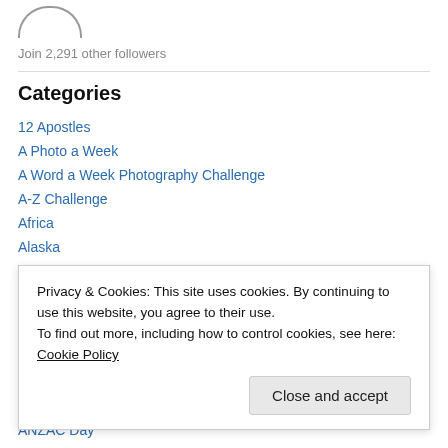[Figure (illustration): Partial circular/oval logo or avatar graphic at the top, showing just the upper arc portion]
Join 2,291 other followers
Categories
12 Apostles
A Photo a Week
A Word a Week Photography Challenge
A-Z Challenge
Africa
Alaska
Alaska Wildlife Conservation Centre
Privacy & Cookies: This site uses cookies. By continuing to use this website, you agree to their use.
To find out more, including how to control cookies, see here: Cookie Policy
ANZAC Day